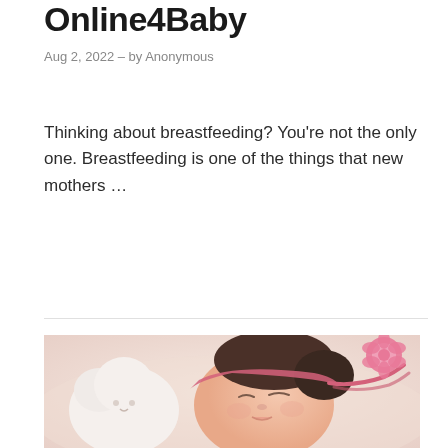Online4Baby
Aug 2, 2022 – by Anonymous
Thinking about breastfeeding? You're not the only one. Breastfeeding is one of the things that new mothers …
Read More
[Figure (photo): A sleeping newborn baby wearing a pink knitted headband with a flower, cuddling a soft white stuffed animal toy]